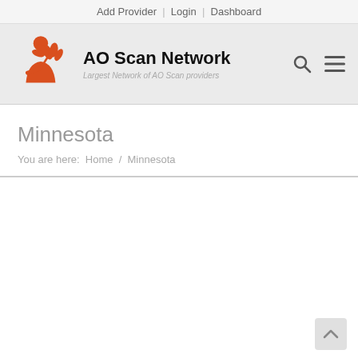Add Provider  |  Login  |  Dashboard
[Figure (logo): AO Scan Network logo with orange person figure holding a lotus flower, with text 'AO Scan Network' and tagline 'Largest Network of AO Scan providers']
Minnesota
You are here:  Home  /  Minnesota